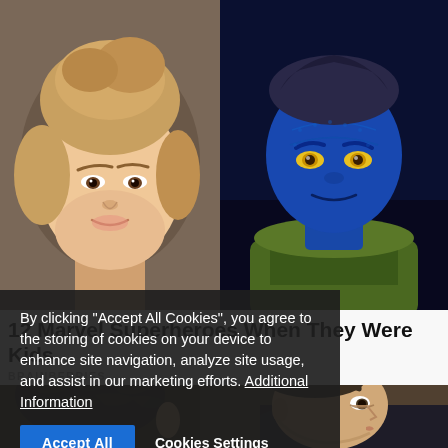[Figure (photo): Top-left: young blonde woman's face, photo from chin/forehead, hair up, gray/purple background]
[Figure (photo): Top-right: blue-skinned Marvel character (Mystique/X-Men) with yellow eyes, dark blue skin texture, yellow-green costume]
By clicking “Accept All Cookies”, you agree to the storing of cookies on your device to enhance site navigation, analyze site usage, and assist in our marketing efforts. Additional Information
12 Marvel Superheroes When They Were Kids
BRAINBERRIES
[Figure (photo): Bottom: two people at an event, one with dark curly hair from behind, one man with short brown hair in a dark suit facing right, warm/brown background]